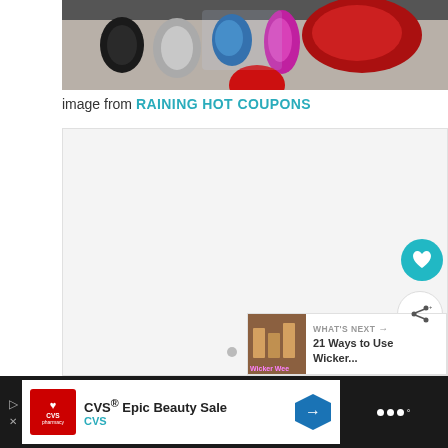[Figure (photo): Photo of colorful metallic objects (keychains or small metal items) in red, blue, purple, silver colors against a light background]
image from RAINING HOT COUPONS
[Figure (other): Advertisement/widget area with light gray background, pagination dots, heart/favorite button (teal circle), share button (white circle), and 'What's Next' widget showing '21 Ways to Use Wicker...' with thumbnail]
[Figure (other): Bottom advertisement bar: CVS Epic Beauty Sale advertisement with CVS pharmacy logo, navigation arrow button, and right-side menu icon on dark background]